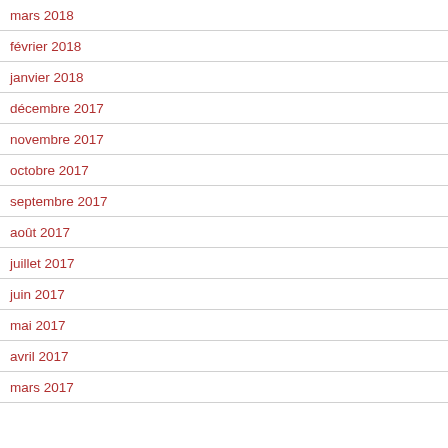mars 2018
février 2018
janvier 2018
décembre 2017
novembre 2017
octobre 2017
septembre 2017
août 2017
juillet 2017
juin 2017
mai 2017
avril 2017
mars 2017